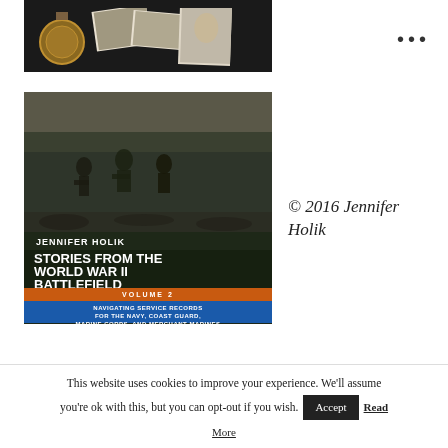[Figure (photo): Top partial image showing wartime memorabilia including a bronze medal, black-and-white photographs of military groups and a soldier portrait, on dark background]
[Figure (photo): Book cover: 'Stories from the World War II Battlefield, Volume 2 — Navigating Service Records for the Navy, Coast Guard, Marine Corps, and Merchant Marines' by Jennifer Holik. Shows WWII soldiers in combat, an official document, a portrait photo, and military ribbons.]
© 2016 Jennifer Holik
This website uses cookies to improve your experience. We'll assume you're ok with this, but you can opt-out if you wish.
Accept
Read More